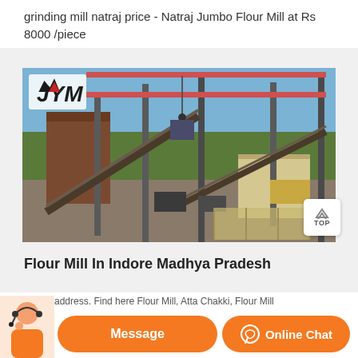grinding mill natraj price - Natraj Jumbo Flour Mill at Rs 8000 /piece
[Figure (photo): Aerial/elevated view of an industrial grinding mill facility with steel framework, conveyor belts, and machinery. JYM logo visible in top-left corner.]
Flour Mill In Indore Madhya Pradesh
details address. Find here Flour Mill, Atta Chakki, Flour Mill
Message
Online Chat